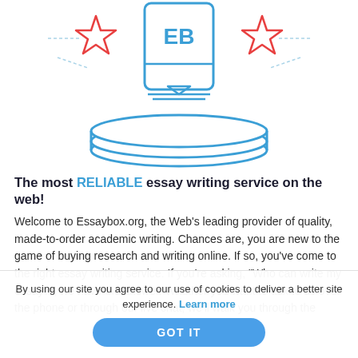[Figure (illustration): Decorative illustration showing a blue book/document icon with 'EB' letters, two red star outlines on either side with dashed lines, and below it three stacked blue ellipses forming a coin/disk stack shape.]
The most RELIABLE essay writing service on the web!
Welcome to Essaybox.org, the Web's leading provider of quality, made-to-order academic writing. Chances are, you are new to the game of buying research and writing online. If so, you've come to the right essay writing service. If you're asking, "Who can write my essay?", we have the answer. Whether you want to talk to us over the phone or through our live chat, we'll walk you through the
By using our site you agree to our use of cookies to deliver a better site experience. Learn more
GOT IT